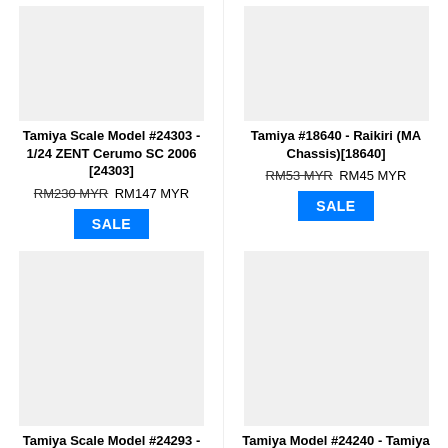[Figure (photo): Product image placeholder for Tamiya Scale Model #24303]
Tamiya Scale Model #24303 - 1/24 ZENT Cerumo SC 2006 [24303]
RM230 MYR RM147 MYR
SALE
[Figure (photo): Product image placeholder for Tamiya #18640]
Tamiya #18640 - Raikiri (MA Chassis)[18640]
RM53 MYR RM45 MYR
SALE
[Figure (photo): Product image placeholder for Tamiya Scale Model #24293]
Tamiya Scale Model #24293 - 1/24 OPEN INTERFACE TOM'S SC430 2006 [24293]
RM216 MYR RM138.80 MYR
[Figure (photo): Product image placeholder for Tamiya Model #24240]
Tamiya Model #24240 - Tamiya Subaru Impreza WRC 2001 [24240]
RM135 MYR RM108 MYR